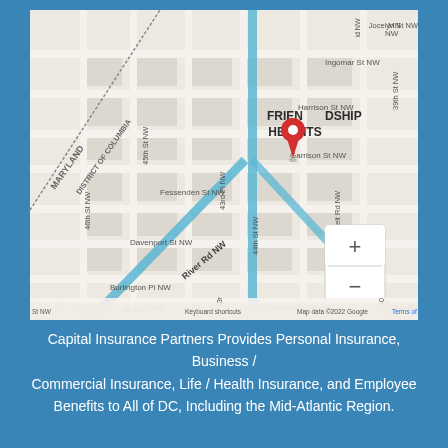[Figure (map): Google Maps view of Friendship Heights neighborhood in Washington DC / Maryland border area, showing streets including River Rd NW, Fessenden St NW, Harrison St NW, Garrison St NW, Davenport St NW, Burlington Pl NW, 45th St NW, 46th St NW, 43rd Pl NW, 44th St NW, Belt Rd NW, 39th St NW. A red location pin marker is placed at Friendship Heights. Blue highlighted route lines cross the map. Zoom controls (+/-) visible in lower right. Google logo and 'Map data ©2022 Google', 'Keyboard shortcuts', 'Terms of Use' visible at bottom.]
Capital Insurance Partners Provides Personal Insurance, Business / Commercial Insurance, Life / Health Insurance, and Employee Benefits to All of DC, Including the Mid-Atlantic Region.